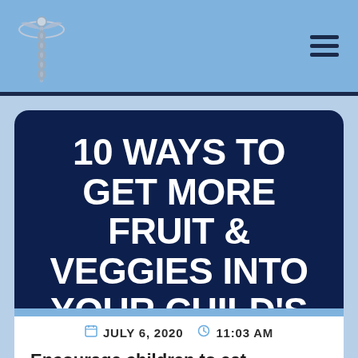Navigation header with caduceus logo and hamburger menu
10 WAYS TO GET MORE FRUIT & VEGGIES INTO YOUR CHILD'S DIET
JULY 6, 2020  11:03 AM
Encourage children to eat vegetables and fruits by making